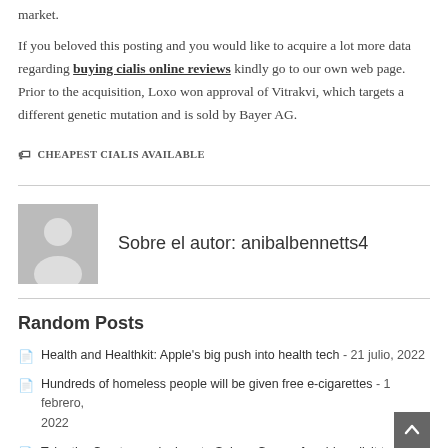market.
If you beloved this posting and you would like to acquire a lot more data regarding buying cialis online reviews kindly go to our own web page. Prior to the acquisition, Loxo won approval of Vitrakvi, which targets a different genetic mutation and is sold by Bayer AG.
🏷 CHEAPEST CIALIS AVAILABLE
Sobre el autor: anibalbennetts4
Random Posts
Health and Healthkit: Apple's big push into health tech - 21 julio, 2022
Hundreds of homeless people will be given free e-cigarettes - 1 febrero, 2022
Tyler the Creator apologises to Selena Gomez for old explicit tweets